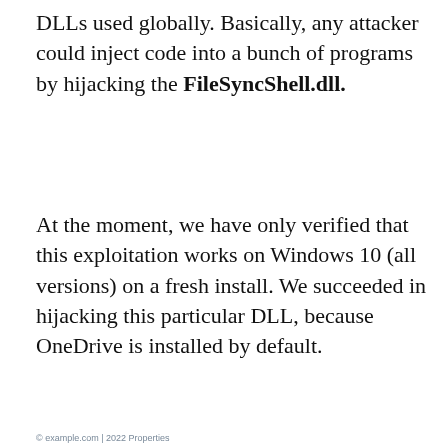DLLs used globally. Basically, any attacker could inject code into a bunch of programs by hijacking the FileSyncShell.dll.
At the moment, we have only verified that this exploitation works on Windows 10 (all versions) on a fresh install. We succeeded in hijacking this particular DLL, because OneDrive is installed by default.
For example, FileSyncShell.dll is always loaded right from startup by Explorer.exe (Figure 1). An attacker who successfully hijacks this DLL gains code execution in Explorer's process...
By continuing to use this website, you consent to our use of cookies. For more information, please read our cookie policy. To review cookie preferences settings.
Proceed